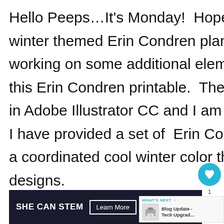Hello Peeps…It's Monday!  Hope you are all ready for a new winter themed Erin Condren planner stickers layout.  I'm still working on some additional elements for the second page of this Erin Condren printable.  These have all been designed in Adobe Illustrator CC and I am also using Canva.    Today, I have provided a set of  Erin Condren planner stickers with a coordinated cool winter color theme and several new designs.
[Figure (infographic): Heart/like button (teal circle with heart icon), count '1', and share button (white circle with share icon) on the right side]
[Figure (infographic): WHAT'S NEXT panel with small printer icon image and text 'Blog Update - Tech Upgrad...']
[Figure (infographic): Dark advertisement banner: 'SHE CAN STEM' with 'Learn More' button and a logo on the right]